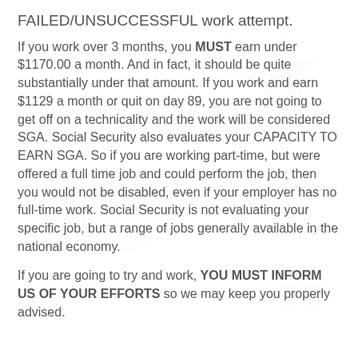FAILED/UNSUCCESSFUL work attempt.
If you work over 3 months, you MUST earn under $1170.00 a month. And in fact, it should be quite substantially under that amount. If you work and earn $1129 a month or quit on day 89, you are not going to get off on a technicality and the work will be considered SGA. Social Security also evaluates your CAPACITY TO EARN SGA. So if you are working part-time, but were offered a full time job and could perform the job, then you would not be disabled, even if your employer has no full-time work. Social Security is not evaluating your specific job, but a range of jobs generally available in the national economy.
If you are going to try and work, YOU MUST INFORM US OF YOUR EFFORTS so we may keep you properly advised.